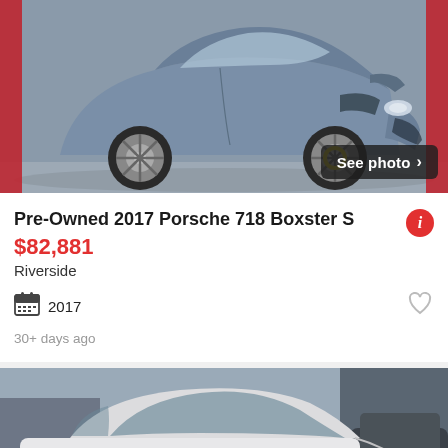[Figure (photo): Photo of a gray Porsche 718 Boxster S sports car, side/front view, with a 'See photo >' button overlay in the bottom right corner.]
Pre-Owned 2017 Porsche 718 Boxster S
$82,881
Riverside
2017
30+ days ago
[Figure (photo): Photo of a white vehicle (SUV/minivan) with dark colored vehicles in background, with a 'See photo >' button overlay in the bottom right corner.]